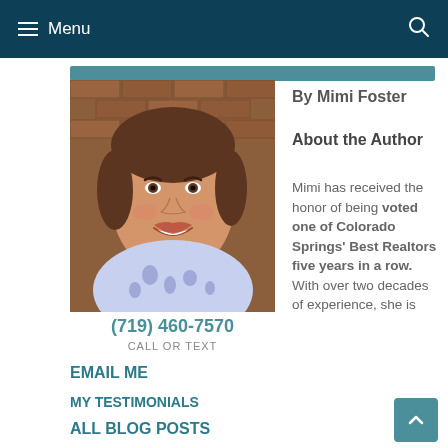Menu
[Figure (photo): Portrait photo of Mimi Foster, a woman with short brown hair, wearing a blue and white floral top, smiling, against a brick background]
(719) 460-7570
CALL OR TEXT
EMAIL ME
MY TESTIMONIALS
ALL BLOG POSTS
By Mimi Foster
About the Author
Mimi has received the honor of being voted one of Colorado Springs' Best Realtors five years in a row. With over two decades of experience, she is